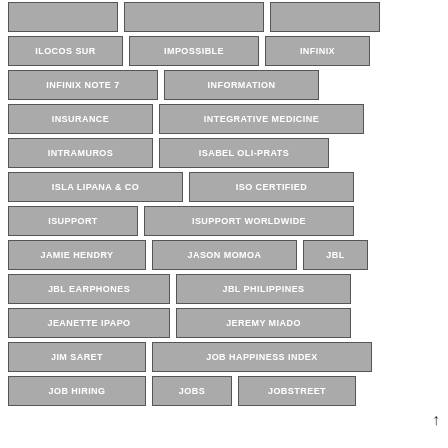ILOCOS SUR
IMPOSSIBLE
INFINIX
INFINIX NOTE 7
INFORMATION
INSURANCE
INTEGRATIVE MEDICINE
INTRAMUROS
ISABEL OLI-PRATS
ISLA LIPANA & CO
ISO CERTIFIED
ISUPPORT
ISUPPORT WORLDWIDE
JAMIE HENDRY
JASON MOMOA
JBL
JBL EARPHONES
JBL PHILIPPINES
JEANETTE IPAPO
JEREMY MIADO
JIM SARET
JOB HAPPINESS INDEX
JOB HIRING
JOBS
JOBSTREET